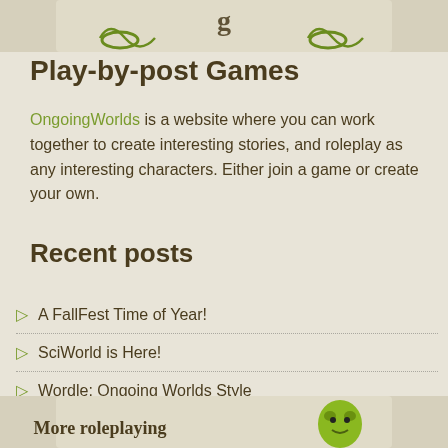[Figure (illustration): Top decorative banner with green swirl/vine ornaments on a beige/cream background]
Play-by-post Games
OngoingWorlds is a website where you can work together to create interesting stories, and roleplay as any interesting characters. Either join a game or create your own.
Recent posts
A FallFest Time of Year!
SciWorld is Here!
Wordle: Ongoing Worlds Style
2021 WarGames Competition Winners
SciWorld is Coming!
[Figure (illustration): Bottom decorative banner partially visible with green alien character and ornamental text beginning with 'More roleplaying...']